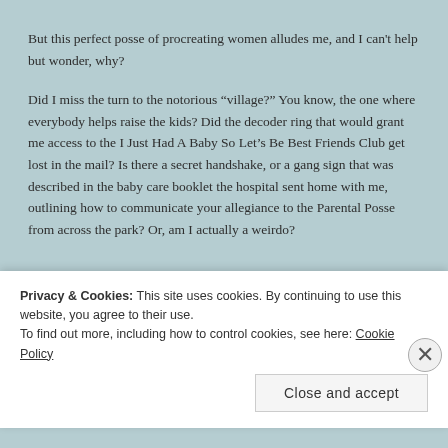But this perfect posse of procreating women alludes me, and I can't help but wonder, why?
Did I miss the turn to the notorious “village?” You know, the one where everybody helps raise the kids? Did the decoder ring that would grant me access to the I Just Had A Baby So Let’s Be Best Friends Club get lost in the mail? Is there a secret handshake, or a gang sign that was described in the baby care booklet the hospital sent home with me, outlining how to communicate your allegiance to the Parental Posse from across the park? Or, am I actually a weirdo?
Privacy & Cookies: This site uses cookies. By continuing to use this website, you agree to their use.
To find out more, including how to control cookies, see here: Cookie Policy
Close and accept